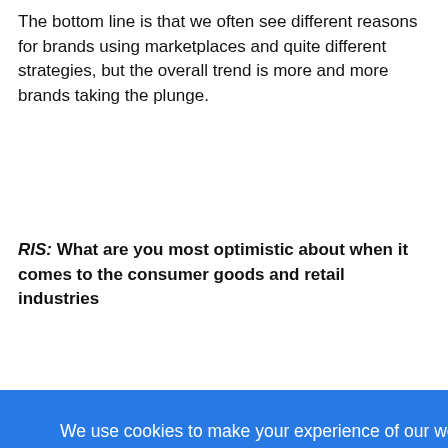The bottom line is that we often see different reasons for brands using marketplaces and quite different strategies, but the overall trend is more and more brands taking the plunge.
RIS: What are you most optimistic about when it comes to the consumer goods and retail industries
[Figure (screenshot): Cookie consent banner overlay in blue with text: 'We use cookies to make your experience of our website better. To find out more about cookies, click here. By accepting this notice and continuing to browse our website you confirm you accept our Privacy Policy' and an OK button.]